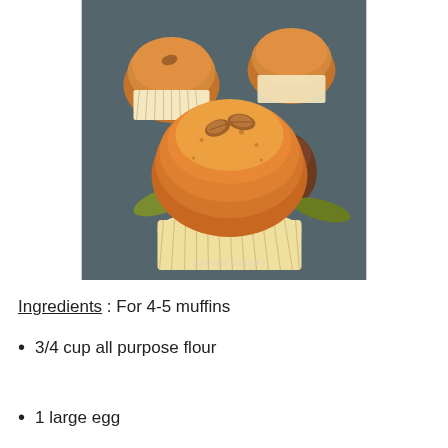[Figure (photo): Close-up photo of golden-brown muffins topped with almonds in white paper cupcake liners, arranged on a dark slate surface. The foreground shows one large muffin with two almonds on top; background shows additional muffins and what appears to be a chocolate-dipped treat. Watermark reads Sweet'n'Savoury in the lower right corner.]
Ingredients : For 4-5 muffins
3/4 cup all purpose flour
1 large egg